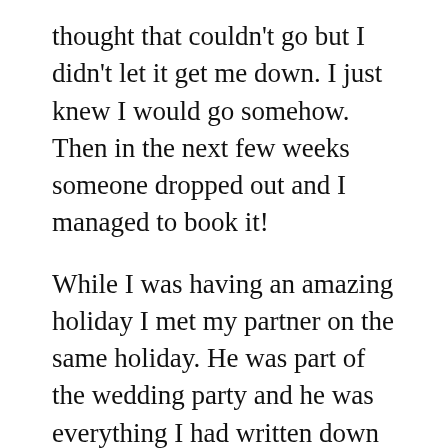thought that couldn't go but I didn't let it get me down. I just knew I would go somehow. Then in the next few weeks someone dropped out and I managed to book it!
While I was having an amazing holiday I met my partner on the same holiday. He was part of the wedding party and he was everything I had written down on my paper! I was over the moon and here I am 3 years later with a beautiful engagement ring, our very own home and a gorgeous 6 month old baby girl. I sometimes forget about The Secret but I when sit and think of all the amazing things it has brought to my life it brings a big smile to my face.